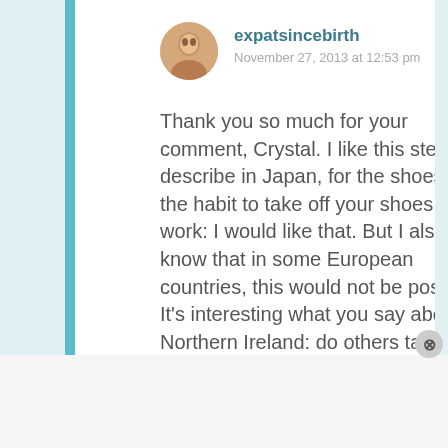expatsincebirth
November 27, 2013 at 12:53 pm
Thank you so much for your comment, Crystal. I like this step you describe in Japan, for the shoes and the habit to take off your shoes at work: I would like that. But I also know that in some European countries, this would not be possible. It’s interesting what you say about Northern Ireland: do others take off their shoes while visiting others there? Or not at all? When you say that you take off your
Advertisements
[Figure (screenshot): DuckDuckGo advertisement banner: orange background with text 'Search, browse, and email with more privacy. All in One Free App' and DuckDuckGo logo on dark background.]